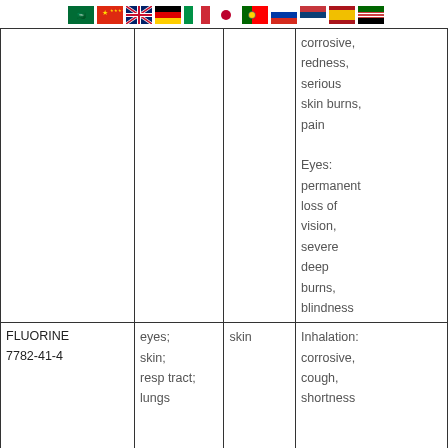[Figure (infographic): Row of country flags: Saudi Arabia, China, UK, Germany, Italy, Japan, Portugal, Russia, Serbia, Spain, Kenya]
|  |  |  | corrosive, redness, serious skin burns, pain

Eyes: permanent loss of vision, severe deep burns, blindness |
| FLUORINE
7782-41-4 | eyes;
skin;
resp tract;
lungs | skin | Inhalation: corrosive, cough, shortness |